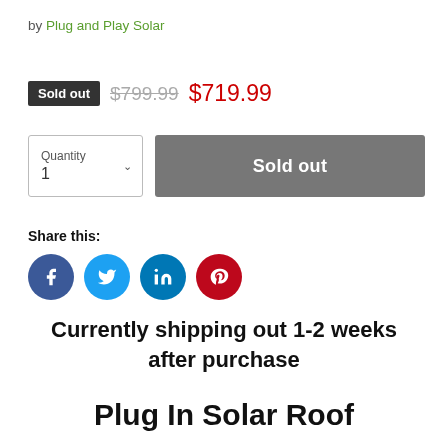by Plug and Play Solar
Sold out  $799.99  $719.99
Quantity 1  Sold out
Share this:
[Figure (infographic): Four social media share icons: Facebook (blue circle with f), Twitter (light blue circle with bird), LinkedIn (medium blue circle with in), Pinterest (red circle with p)]
Currently shipping out 1-2 weeks after purchase
Plug In Solar Roof